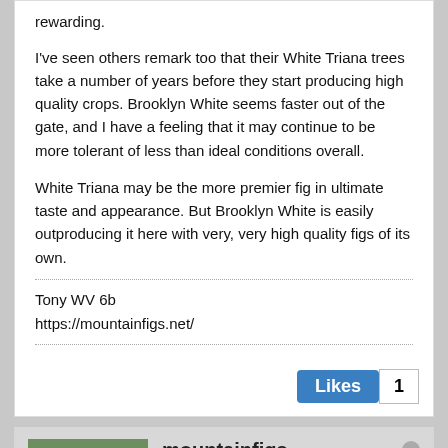rewarding.
I've seen others remark too that their White Triana trees take a number of years before they start producing high quality crops. Brooklyn White seems faster out of the gate, and I have a feeling that it may continue to be more tolerant of less than ideal conditions overall.
White Triana may be the more premier fig in ultimate taste and appearance. But Brooklyn White is easily outproducing it here with very, very high quality figs of its own.
Tony WV 6b
https://mountainfigs.net/
Likes 1
mountainfigs
Senior Member
Join Date: Feb 2015   Posts: 1609